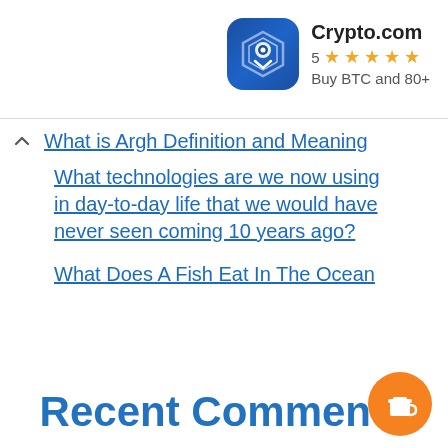[Figure (logo): Crypto.com app advertisement banner with blue hexagonal logo icon, 5 star rating, and 'Buy BTC and 80+' text]
What is Argh Definition and Meaning
What technologies are we now using in day-to-day life that we would have never seen coming 10 years ago?
What Does A Fish Eat In The Ocean
Recent Comments